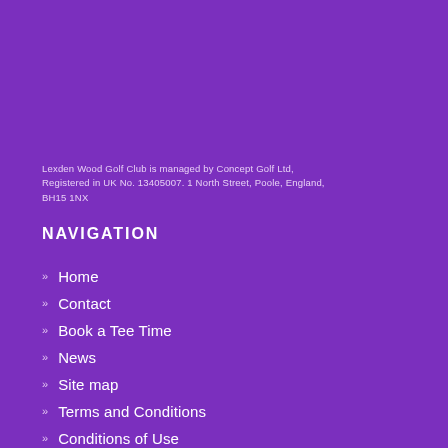Lexden Wood Golf Club is managed by Concept Golf Ltd, Registered in UK No. 13405007. 1 North Street, Poole, England, BH15 1NX
NAVIGATION
Home
Contact
Book a Tee Time
News
Site map
Terms and Conditions
Conditions of Use